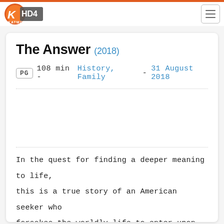[Figure (logo): KatMovie HD logo with orange/red circular design and stylized text]
The Answer (2018)
PG  108 min - History, Family - 31 August 2018
In the quest for finding a deeper meaning to life, this is a true story of an American seeker who forsakes the worldly life to enter upon an amazing